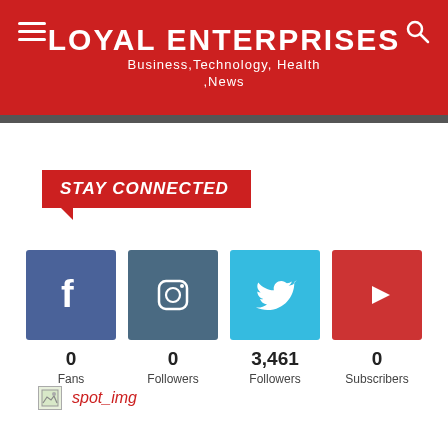LOYAL ENTERPRISES
Business, Technology, Health, News
STAY CONNECTED
[Figure (infographic): Four social media icons (Facebook, Instagram, Twitter, YouTube) with follower/fan/subscriber counts: Facebook 0 Fans, Instagram 0 Followers, Twitter 3,461 Followers, YouTube 0 Subscribers]
[Figure (other): spot_img placeholder image link]